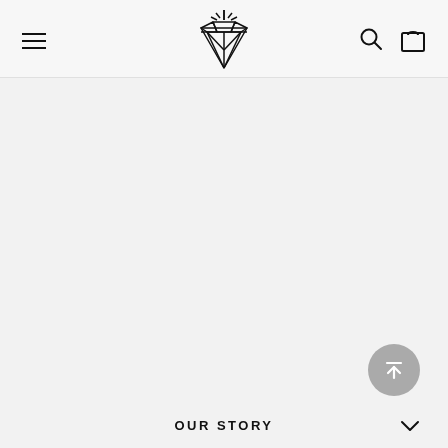Navigation header with hamburger menu, diamond logo, search icon, and bag icon
[Figure (logo): Diamond-shaped geometric logo with a star/sparkle above it, resembling a crystal or gem with internal facet lines]
[Figure (illustration): Scroll-to-top circular button with upward arrow and horizontal bar, gray background]
OUR STORY